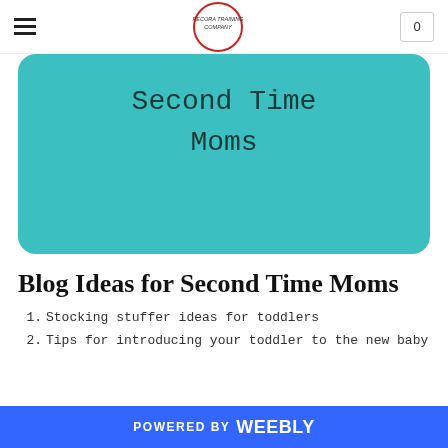PECORA TRAINING COMPANY — navigation bar with logo and cart
[Figure (illustration): Teal rounded rectangle banner with text 'Second Time Moms' in monospace font]
Blog Ideas for Second Time Moms
Stocking stuffer ideas for toddlers
Tips for introducing your toddler to the new baby
POWERED BY weebly